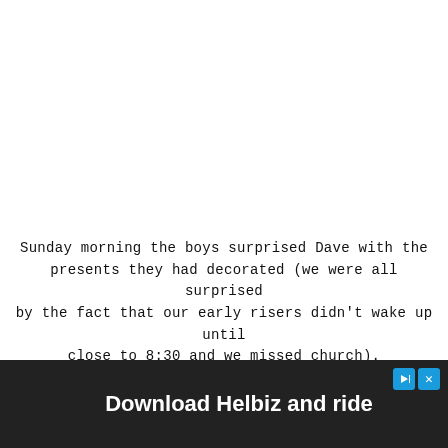Sunday morning the boys surprised Dave with the presents they had decorated (we were all surprised by the fact that our early risers didn't wake up until close to 8:30 and we missed church).
[Figure (photo): Photo of a person in a teal/blue shirt holding or near a cardboard box, with a handmade cardboard sign reading 'HAPPY FATHER DADDY' visible on the right side.]
[Figure (screenshot): Advertisement banner at the bottom reading 'Download Helbiz and ride' with a dark background, white text, and small icons including a play/ad icon and a close X button. A circular close button is visible above the ad bar.]